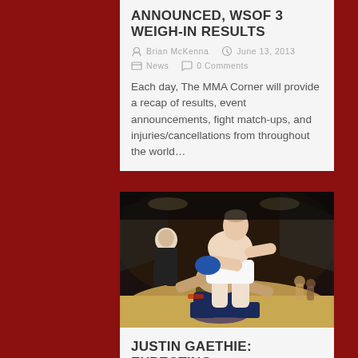Announced, WSOF 3 Weigh-In Results
Brian McKenna  June 13, 2013
News  0 Comments
Each day, The MMA Corner will provide a recap of results, event announcements, fight match-ups, and injuries/cancellations from throughout the world...
[Figure (photo): Two MMA fighters in an octagon cage, one fighter standing over a kneeling opponent delivering a punch, with a referee in the background]
Justin Gaethie: Expecting